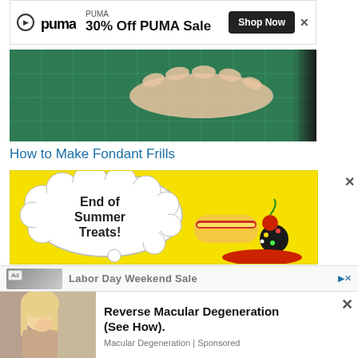[Figure (screenshot): PUMA advertisement banner: PUMA logo, '30% Off PUMA Sale' text, 'Shop Now' button]
[Figure (photo): Hand pressing flat on a green cutting mat with grid lines]
How to Make Fondant Frills
[Figure (screenshot): Yellow advertisement banner with 'End of Summer Treats!' text in a cloud speech bubble and images of food items]
[Figure (screenshot): Ad strip: Labor Day Weekend Sale advertisement]
[Figure (screenshot): Popup advertisement: 'Reverse Macular Degeneration (See How).' from Macular Degeneration | Sponsored, with image of blonde woman rubbing eye]